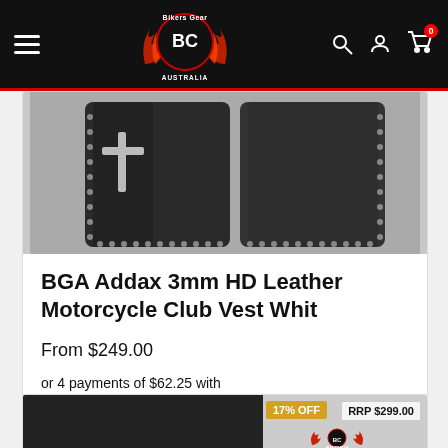[Figure (logo): Bikers Gear Australia logo with flames and BC emblem on black header bar]
[Figure (photo): Black leather motorcycle club vest with studded cross emblem, shown front and back]
BGA Addax 3mm HD Leather Motorcycle Club Vest Whit
From $249.00
or 4 payments of $62.25 with afterpay Info
See Options
[Figure (screenshot): Bottom of next product card showing 17% OFF badge and RRP $299.00 badge with Bikers Gear logo]
17% OFF
RRP $299.00